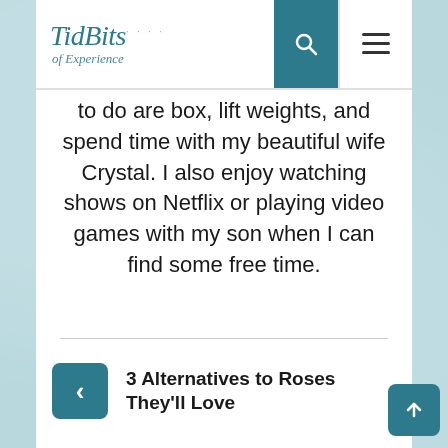TidBits of Experience — navigation header with search and menu icons
to do are box, lift weights, and spend time with my beautiful wife Crystal. I also enjoy watching shows on Netflix or playing video games with my son when I can find some free time.
3 Alternatives to Roses They'll Love
Two Focus Points For A Happier You